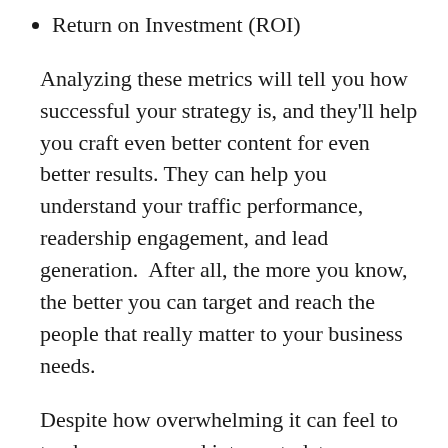Return on Investment (ROI)
Analyzing these metrics will tell you how successful your strategy is, and they'll help you craft even better content for even better results. They can help you understand your traffic performance, readership engagement, and lead generation.  After all, the more you know, the better you can target and reach the people that really matter to your business needs.
Despite how overwhelming it can feel to track, manage, and interpret, data can guide some pretty big and important decisions when it comes to who you target, how you target them, and the most effective content strategy to use.